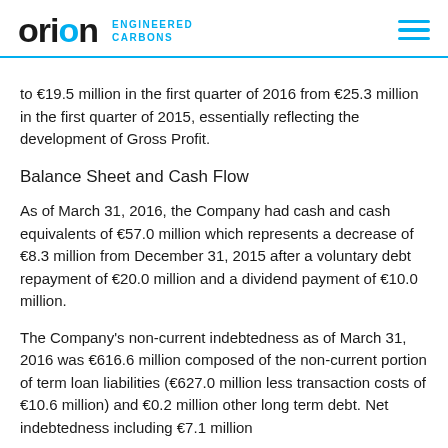orion ENGINEERED CARBONS
to €19.5 million in the first quarter of 2016 from €25.3 million in the first quarter of 2015, essentially reflecting the development of Gross Profit.
Balance Sheet and Cash Flow
As of March 31, 2016, the Company had cash and cash equivalents of €57.0 million which represents a decrease of €8.3 million from December 31, 2015 after a voluntary debt repayment of €20.0 million and a dividend payment of €10.0 million.
The Company's non-current indebtedness as of March 31, 2016 was €616.6 million composed of the non-current portion of term loan liabilities (€627.0 million less transaction costs of €10.6 million) and €0.2 million other long term debt. Net indebtedness including €7.1 million